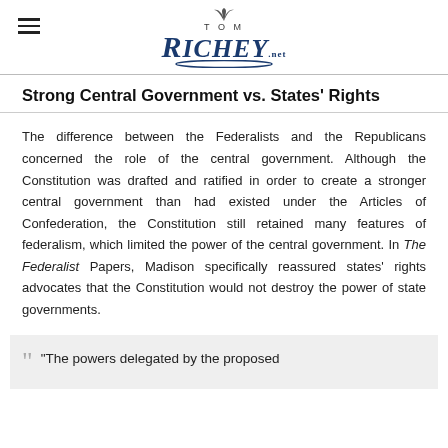Tom Richey .net
Strong Central Government vs. States' Rights
The difference between the Federalists and the Republicans concerned the role of the central government. Although the Constitution was drafted and ratified in order to create a stronger central government than had existed under the Articles of Confederation, the Constitution still retained many features of federalism, which limited the power of the central government. In The Federalist Papers, Madison specifically reassured states' rights advocates that the Constitution would not destroy the power of state governments.
“The powers delegated by the proposed